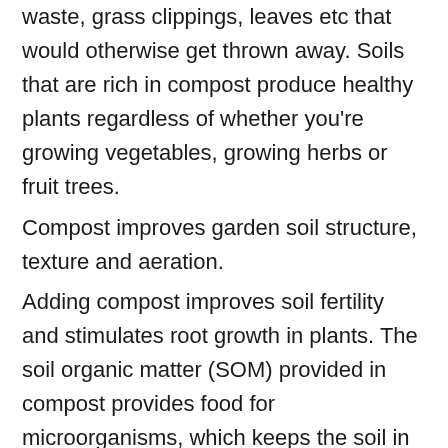waste, grass clippings, leaves etc that would otherwise get thrown away. Soils that are rich in compost produce healthy plants regardless of whether you're growing vegetables, growing herbs or fruit trees.
Compost improves garden soil structure, texture and aeration.
Adding compost improves soil fertility and stimulates root growth in plants. The soil organic matter (SOM) provided in compost provides food for microorganisms, which keeps the soil in a healthy and in a stable condition.
Compost helps break up clay soils and helps sandy soils retain water
No need to add fertiliser — just spread the